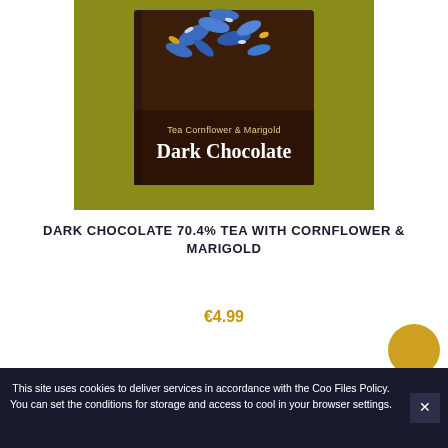[Figure (photo): Dark chocolate bar package with blue cornflowers and marigold on an olive/yellow-green background. Package reads 'Tea Cornflower & Marigold Dark Chocolate'.]
DARK CHOCOLATE 70.4% TEA WITH CORNFLOWER & MARIGOLD
€4.99
This site uses cookies to deliver services in accordance with the Coo Files Policy. You can set the conditions for storage and access to cool in your browser settings.